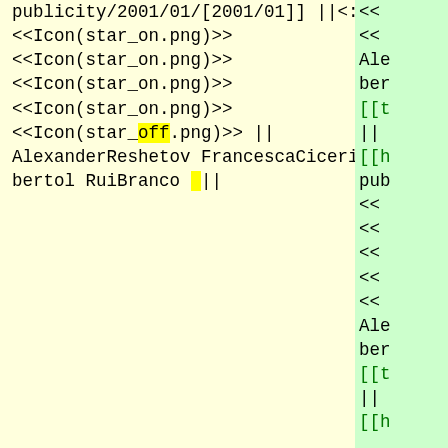publicity/2001/01/[2001/01]] ||<:>
<<Icon(star_on.png)>>
<<Icon(star_on.png)>>
<<Icon(star_on.png)>>
<<Icon(star_on.png)>>
<<Icon(star_off.png)>> ||
AlexanderReshetov FrancescaCiceri
bertol RuiBranco  ||
<<
<<
Ale
ber
[[t
||
[[h
pub
<<
<<
<<
<<
<<
Ale
ber
[[t
||
[[h